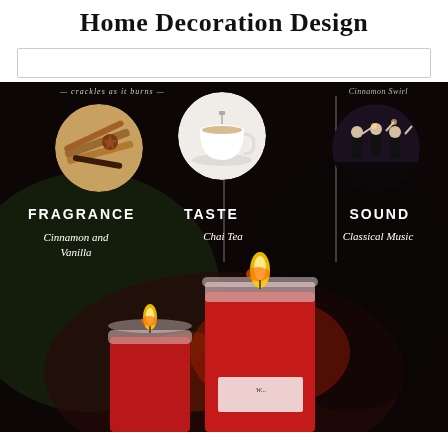Home Decoration Design
[Figure (infographic): Home decoration design infographic showing three sensory categories for a candle product: FRAGRANCE (Cinnamon and Vanilla), TASTE (Chai Tea), and SOUND (Classical Music). Each category has a circular image above it — spices/cinnamon sticks for fragrance, a tea cup for taste, and orchestra musicians for sound. Text at top reads 'crackles as it burns' and 'Cinnamon Swirl'. Bottom portion shows red candles burning in glass containers.]